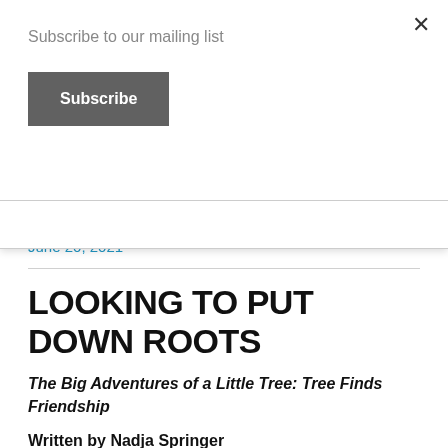Subscribe to our mailing list
Subscribe
×
June 20, 2021
LOOKING TO PUT DOWN ROOTS
The Big Adventures of a Little Tree: Tree Finds Friendship
Written by Nadja Springer